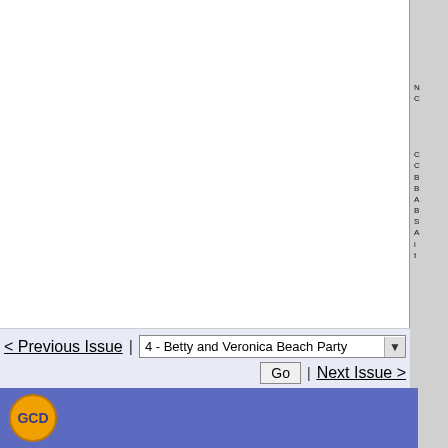[Figure (screenshot): Website navigation interface showing previous/next issue navigation for '4 - Betty and Veronica Beach Party' with a Go button and logo footer in purple/blue.]
< Previous Issue | 4 - Betty and Veronica Beach Party  Go | Next Issue >